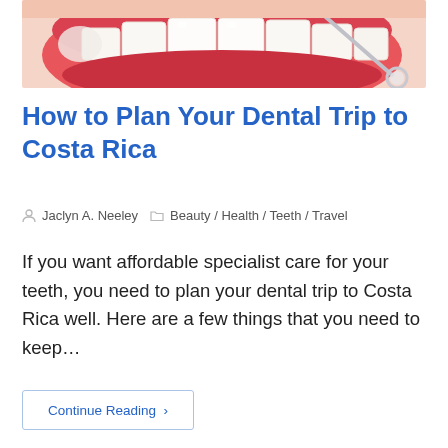[Figure (photo): Close-up photo of a dental examination: open mouth with white teeth and pink gums, with a metal dental mirror/explorer tool visible]
How to Plan Your Dental Trip to Costa Rica
Jaclyn A. Neeley   Beauty / Health / Teeth / Travel
If you want affordable specialist care for your teeth, you need to plan your dental trip to Costa Rica well. Here are a few things that you need to keep…
Continue Reading ›